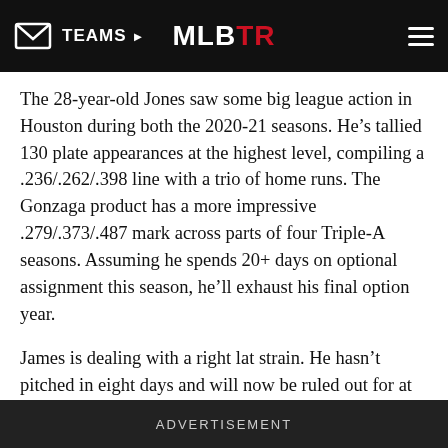TEAMS | MLBTR
The 28-year-old Jones saw some big league action in Houston during both the 2020-21 seasons. He's tallied 130 plate appearances at the highest level, compiling a .236/.262/.398 line with a trio of home runs. The Gonzaga product has a more impressive .279/.373/.487 mark across parts of four Triple-A seasons. Assuming he spends 20+ days on optional assignment this season, he'll exhaust his final option year.
James is dealing with a right lat strain. He hasn't pitched in eight days and will now be ruled out for at least another two months. The right-hander broke into the big leagues late in the 2018 season, impressing with a 2.35 ERA in 23 innings while averaging over 97 MPH on his fastball. He struck out 37.6% of opponents over a career-high 61 1/3 frames the following year,
ADVERTISEMENT